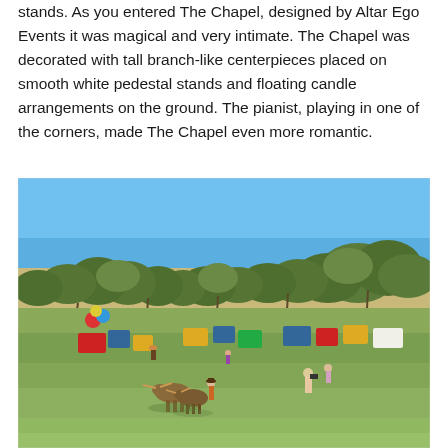stands.  As you entered The Chapel, designed by Altar Ego Events it was magical and very intimate.  The Chapel was decorated with tall branch-like centerpieces placed on smooth white pedestal stands and floating candle arrangements on the ground. The pianist, playing in one of the corners, made The Chapel even more romantic.
[Figure (photo): Outdoor event scene with a large grassy field, rows of oak trees in the background under a clear blue sky. Multiple colorful vendor or display tables are set up across the field. In the foreground, a person leads two longhorn cattle while another person stands nearby photographing. Several attendees are visible walking around the exhibits.]